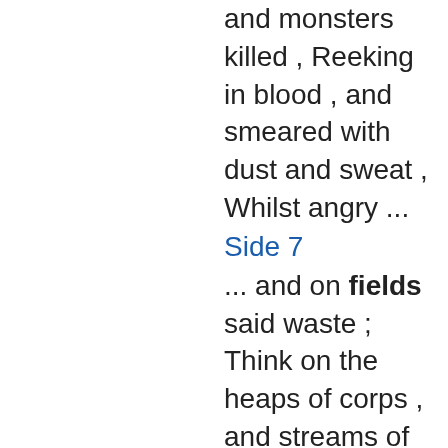and monsters killed , Reeking in blood , and smeared with dust and sweat , Whilst angry ...
Side 7
... and on fields said waste ; Think on the heaps of corps , and streams of blood , On every guilty plain , and purple flood , Thy arms have made , and cease an impious war , Nor waste the lives intrusted to thy care .
Side 11
Plant all the flowery banks with lavender , With store of savoury scent the fragrant air ; Let running betony the field o'erspread , And fountains soak the